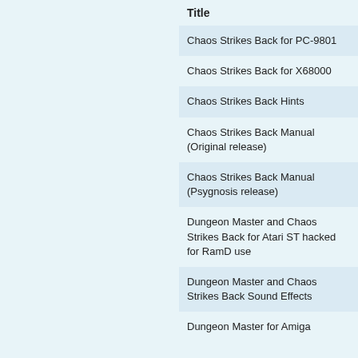| Title |
| --- |
| Chaos Strikes Back for PC-9801 |
| Chaos Strikes Back for X68000 |
| Chaos Strikes Back Hints |
| Chaos Strikes Back Manual (Original release) |
| Chaos Strikes Back Manual (Psygnosis release) |
| Dungeon Master and Chaos Strikes Back for Atari ST hacked for RamD use |
| Dungeon Master and Chaos Strikes Back Sound Effects |
| Dungeon Master for Amiga |